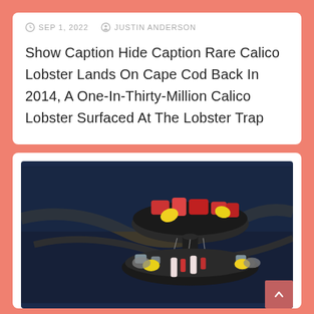SEP 1, 2022  JUSTIN ANDERSON
Show Caption Hide Caption Rare Calico Lobster Lands On Cape Cod Back In 2014, A One-In-Thirty-Million Calico Lobster Surfaced At The Lobster Trap
[Figure (photo): A dark-background food photo showing a seafood tower or presentation with lobster pieces and lemons in a round serving vessel, with ice and shellfish below, on a dark marble-like surface]